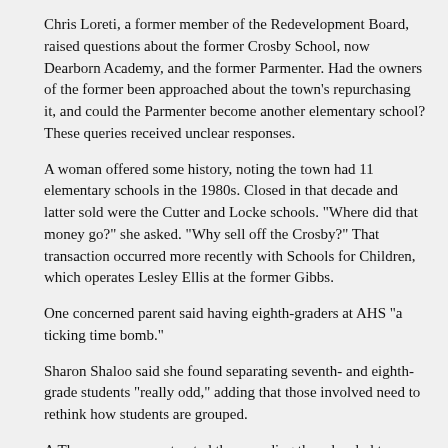Chris Loreti, a former member of the Redevelopment Board, raised questions about the former Crosby School, now Dearborn Academy, and the former Parmenter. Had the owners of the former been approached about the town's repurchasing it, and could the Parmenter become another elementary school? These queries received unclear responses.
A woman offered some history, noting the town had 11 elementary schools in the 1980s. Closed in that decade and latter sold were the Cutter and Locke schools. "Where did that money go?" she asked. "Why sell off the Crosby?" That transaction occurred more recently with Schools for Children, which operates Lesley Ellis at the former Gibbs.
One concerned parent said having eighth-graders at AHS "a ticking time bomb."
Sharon Shaloo said she found separating seventh- and eighth-grade students "really odd," adding that those involved need to rethink how students are grouped.
A Thompson moment noted the crowding there has led to lunch starting as early as 10:50 a.m. Cowles said she did not know that.
Mark Rosenthal provided numbers that he said supports